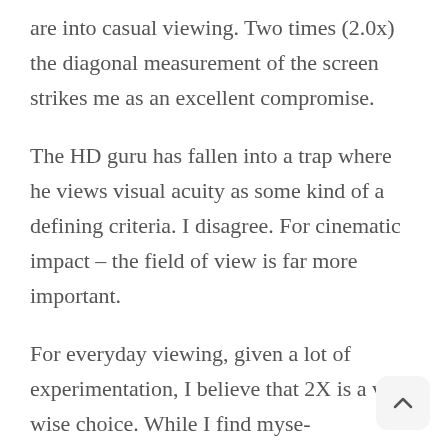are into casual viewing. Two times (2.0x) the diagonal measurement of the screen strikes me as an excellent compromise.
The HD guru has fallen into a trap where he views visual acuity as some kind of a defining criteria. I disagree. For cinematic impact – the field of view is far more important.
For everyday viewing, given a lot of experimentation, I believe that 2X is a very wise choice. While I find myse uncomfortable agreeing with Sony it